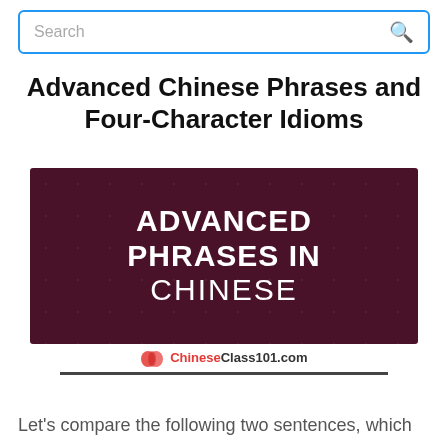Search
Advanced Chinese Phrases and Four-Character Idioms
[Figure (illustration): Dark maroon banner image with bold white uppercase text reading 'ADVANCED PHRASES IN CHINESE', with a ChineseClass101.com logo below it.]
Let's compare the following two sentences, which